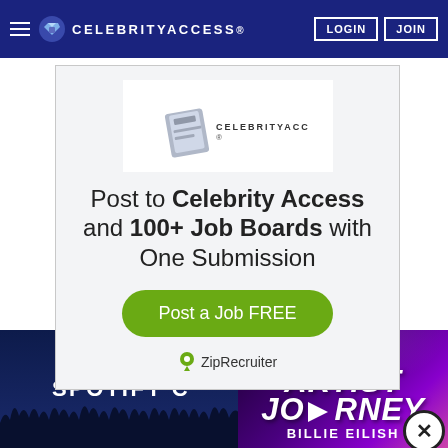CELEBRITYACCESS. LOGIN JOIN
[Figure (screenshot): CelebrityAccess logo with stylized ticket icon and text CELEBRITYACCESS.]
Post to Celebrity Access and 100+ Job Boards with One Submission
Post a Job FREE
[Figure (logo): ZipRecruiter logo with green pin icon and text ZipRecruiter]
[Figure (photo): Concert crowd silhouette with SPOTIFY C text overlay in dark blue]
[Figure (infographic): Live Nation Artist Journey featuring Billie Eilish promotional card with purple gradient background]